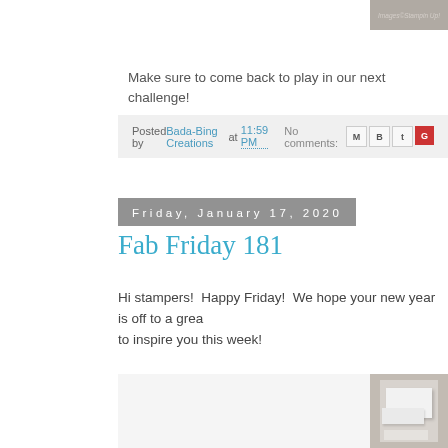[Figure (photo): Partial top image with text 'Images©Stampin Up!' on a taupe/gray background]
Make sure to come back to play in our next challenge!
Posted by Bada-Bing Creations at 11:59 PM   No comments:
Friday, January 17, 2020
Fab Friday 181
Hi stampers!  Happy Friday!  We hope your new year is off to a great start! We have a great sketch to inspire you this week!
[Figure (photo): Partial view of a stamped card on taupe background with layered white/light gray card panels]